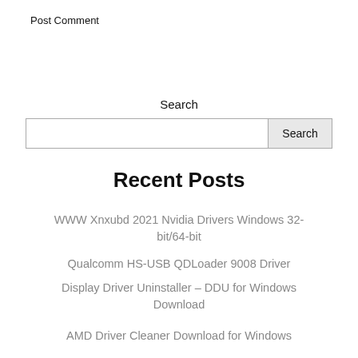Post Comment
Search
Search
Recent Posts
WWW Xnxubd 2021 Nvidia Drivers Windows 32-bit/64-bit
Qualcomm HS-USB QDLoader 9008 Driver
Display Driver Uninstaller – DDU for Windows Download
AMD Driver Cleaner Download for Windows